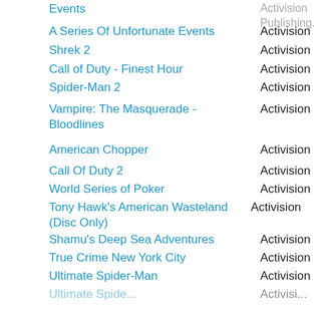| Game Title | Publisher |
| --- | --- |
| Events | Activision Publishing... |
| A Series Of Unfortunate Events | Activision |
| Shrek 2 | Activision |
| Call of Duty - Finest Hour | Activision |
| Spider-Man 2 | Activision |
| Vampire: The Masquerade - Bloodlines | Activision |
| American Chopper | Activision |
| Call Of Duty 2 | Activision |
| World Series of Poker | Activision |
| Tony Hawk's American Wasteland (Disc Only) | Activision |
| Shamu's Deep Sea Adventures | Activision |
| True Crime New York City | Activision |
| Ultimate Spider-Man | Activision |
| Ultimate Spide... | Activisi... |